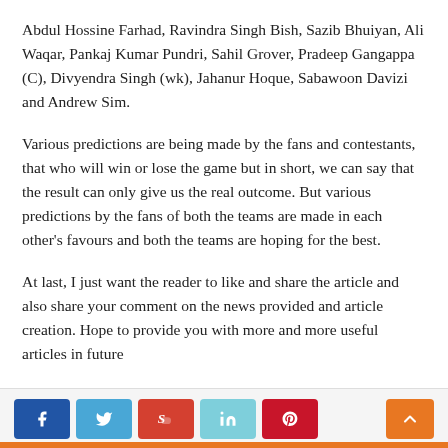Abdul Hossine Farhad, Ravindra Singh Bish, Sazib Bhuiyan, Ali Waqar, Pankaj Kumar Pundri, Sahil Grover, Pradeep Gangappa (C), Divyendra Singh (wk), Jahanur Hoque, Sabawoon Davizi and Andrew Sim.
Various predictions are being made by the fans and contestants, that who will win or lose the game but in short, we can say that the result can only give us the real outcome. But various predictions by the fans of both the teams are made in each other's favours and both the teams are hoping for the best.
At last, I just want the reader to like and share the article and also share your comment on the news provided and article creation. Hope to provide you with more and more useful articles in future
Social share buttons: Facebook, Twitter, StumbleUpon, LinkedIn, Pinterest. Scroll-to-top button.